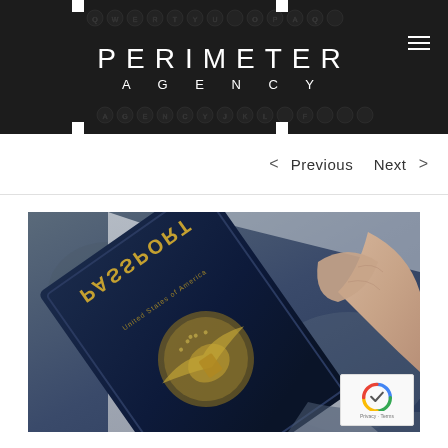[Figure (photo): Dark background showing typewriter keys, with PERIMETER AGENCY logo centered in white text and hamburger menu icon in top right]
< Previous   Next >
[Figure (photo): Close-up photograph of a hand holding a US Passport, showing the dark blue cover with gold eagle seal and text, photographed from an unusual angle where the text appears mirrored]